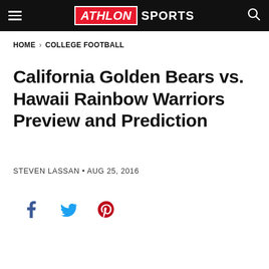ATHLON SPORTS
HOME > COLLEGE FOOTBALL
California Golden Bears vs. Hawaii Rainbow Warriors Preview and Prediction
STEVEN LASSAN • AUG 25, 2016
[Figure (other): Social share buttons: Facebook, Twitter, Pinterest]